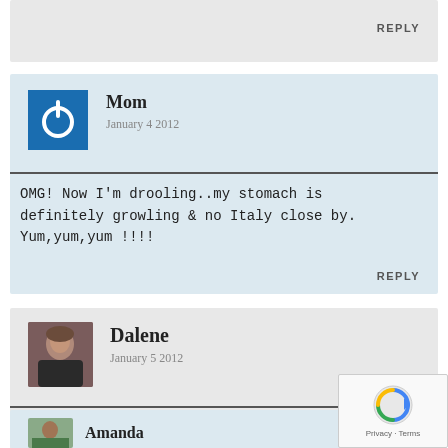REPLY
Mom
January 4 2012
OMG! Now I'm drooling..my stomach is definitely growling & no Italy close by. Yum,yum,yum !!!!
REPLY
Dalene
January 5 2012
Sorry Mom! You need to go to Italy. 🙂
REPLY
Amanda